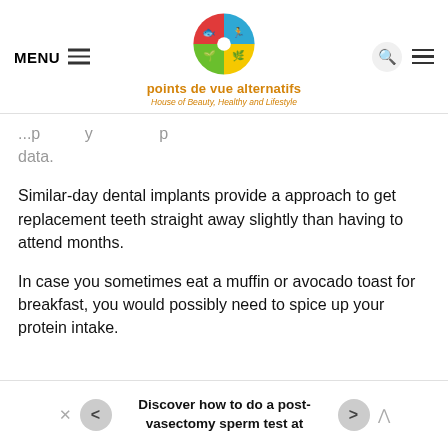MENU  points de vue alternatifs  House of Beauty, Healthy and Lifestyle
...p...y...p data.
Similar-day dental implants provide a approach to get replacement teeth straight away slightly than having to attend months.
In case you sometimes eat a muffin or avocado toast for breakfast, you would possibly need to spice up your protein intake.
× < Discover how to do a post-vasectomy sperm test at >  ^